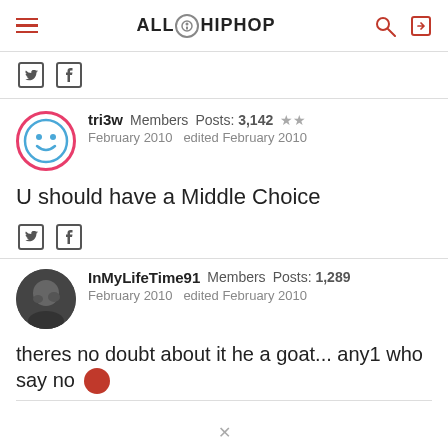ALL HIPHOP
Twitter share  Facebook share
tri3w  Members  Posts: 3,142  ★★  February 2010  edited February 2010
U should have a Middle Choice
Twitter share  Facebook share
InMyLifeTime91  Members  Posts: 1,289  February 2010  edited February 2010
theres no doubt about it he a goat... any1 who say no